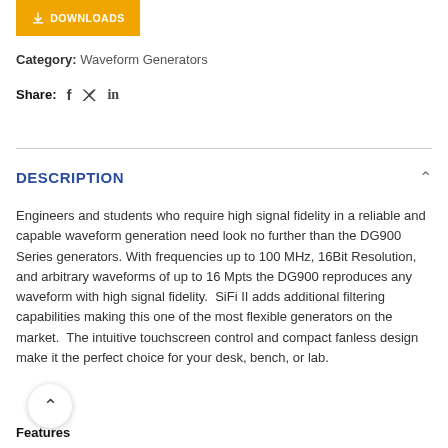[Figure (other): Orange downloads button with download icon and text DOWNLOADS]
Category: Waveform Generators
Share: f twitter in
DESCRIPTION
Engineers and students who require high signal fidelity in a reliable and capable waveform generation need look no further than the DG900 Series generators. With frequencies up to 100 MHz, 16Bit Resolution, and arbitrary waveforms of up to 16 Mpts the DG900 reproduces any waveform with high signal fidelity.  SiFi II adds additional filtering capabilities making this one of the most flexible generators on the market.  The intuitive touchscreen control and compact fanless design make it the perfect choice for your desk, bench, or lab.
Features